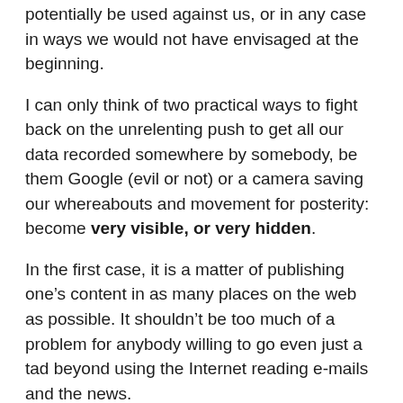potentially be used against us, or in any case in ways we would not have envisaged at the beginning.
I can only think of two practical ways to fight back on the unrelenting push to get all our data recorded somewhere by somebody, be them Google (evil or not) or a camera saving our whereabouts and movement for posterity: become very visible, or very hidden.
In the first case, it is a matter of publishing one’s content in as many places on the web as possible. It shouldn’t be too much of a problem for anybody willing to go even just a tad beyond using the Internet reading e-mails and the news.
The point is that when a search about you returns a few thousands of entries, it is be very hard to discern anything out of the “noise”.